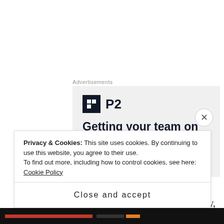Advertisements
[Figure (other): Advertisement banner for P2 with logo icon and headline text 'Getting your team on the same page is easy']
The photo behind my little collection of words below for International Women's Day, is a photo I took of a skull in Portugal a few years ago. I'm using it, not because we are all the same on the inside (because we
Privacy & Cookies: This site uses cookies. By continuing to use this website, you agree to their use.
To find out more, including how to control cookies, see here: Cookie Policy
Close and accept